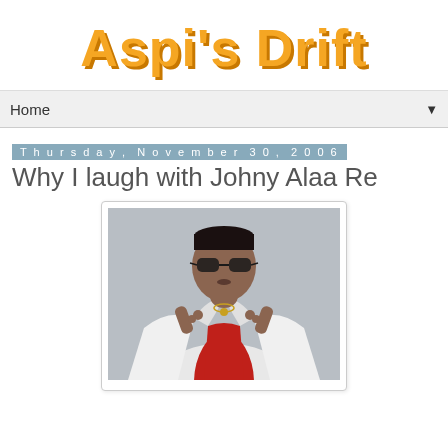Aspi's Drift
Home
Thursday, November 30, 2006
Why I laugh with Johny Alaa Re
[Figure (photo): A man wearing sunglasses pulling up the collar of his white jacket, with a red inner shirt and a necklace, photographed against a gray background.]